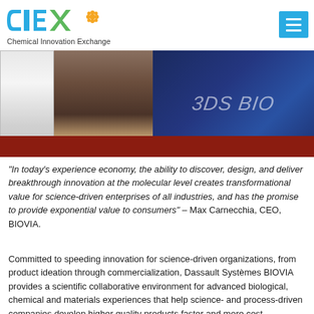Chemical Innovation Exchange
[Figure (photo): Conference booth photo showing a 3DS BIOVIA display banner with people standing near it, on a patterned carpet floor]
“In today’s experience economy, the ability to discover, design, and deliver breakthrough innovation at the molecular level creates transformational value for science-driven enterprises of all industries, and has the promise to provide exponential value to consumers” – Max Carnecchia, CEO, BIOVIA.
Committed to speeding innovation for science-driven organizations, from product ideation through commercialization, Dassault Systèmes BIOVIA provides a scientific collaborative environment for advanced biological, chemical and materials experiences that help science- and process-driven companies develop higher quality products faster and more cost effectively.